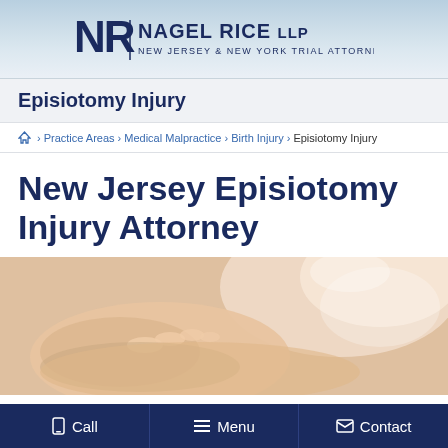NAGEL RICE LLP — NEW JERSEY & NEW YORK TRIAL ATTORNEYS
Episiotomy Injury
Home > Practice Areas > Medical Malpractice > Birth Injury > Episiotomy Injury
New Jersey Episiotomy Injury Attorney
[Figure (photo): Close-up photo of a newborn baby's hand being held, soft focus background]
Call | Menu | Contact